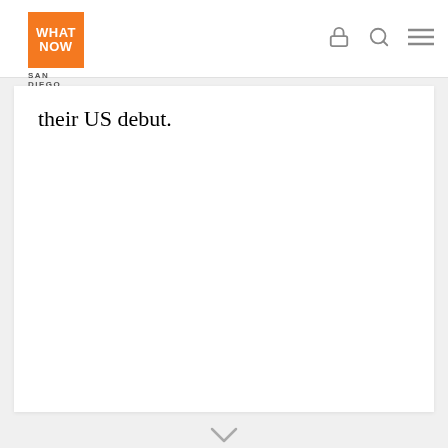WHAT NOW SAN DIEGO
their US debut.